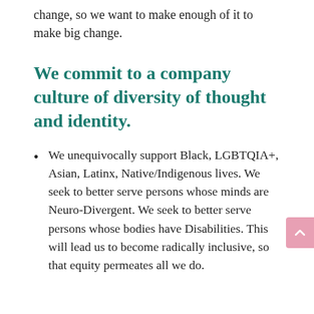change, so we want to make enough of it to make big change.
We commit to a company culture of diversity of thought and identity.
We unequivocally support Black, LGBTQIA+, Asian, Latinx, Native/Indigenous lives. We seek to better serve persons whose minds are Neuro-Divergent. We seek to better serve persons whose bodies have Disabilities. This will lead us to become radically inclusive, so that equity permeates all we do.